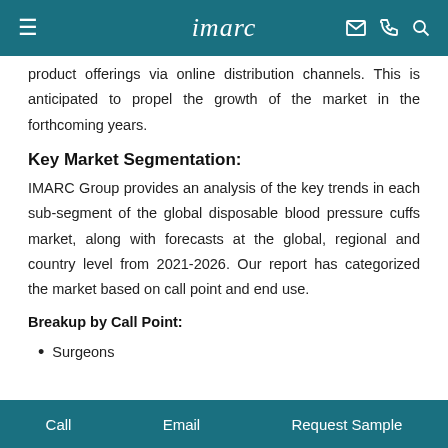imarc
product offerings via online distribution channels. This is anticipated to propel the growth of the market in the forthcoming years.
Key Market Segmentation:
IMARC Group provides an analysis of the key trends in each sub-segment of the global disposable blood pressure cuffs market, along with forecasts at the global, regional and country level from 2021-2026. Our report has categorized the market based on call point and end use.
Breakup by Call Point:
Surgeons
Call   Email   Request Sample